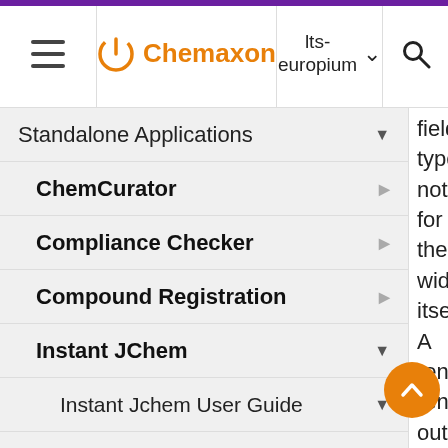≡ Chemaxon | lts-europium ∨ | 🔍
Standalone Applications ▲
ChemCurator ▷
Compliance Checker ▷
Compound Registration ▷
Instant JChem ▲
Instant Jchem User Guide ▲
Getting Started ▷
IJC Projects ▷
IJC Schemas ▷
field type, not for the widget itself. A renderer renders output a